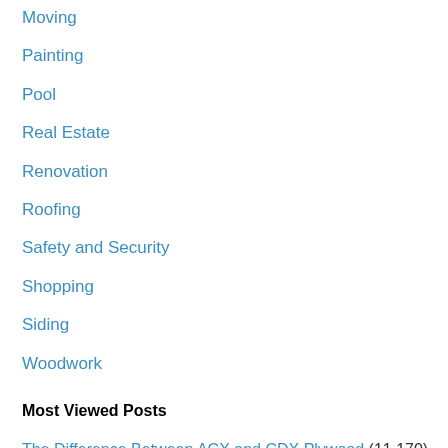Moving
Painting
Pool
Real Estate
Renovation
Roofing
Safety and Security
Shopping
Siding
Woodwork
Most Viewed Posts
The Difference Between ACX and CDX Plywood (11,170)
Understanding the Pros and Cons of Different Roof Types